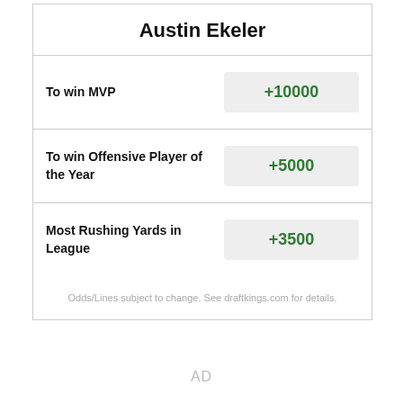Austin Ekeler
| Bet | Odds |
| --- | --- |
| To win MVP | +10000 |
| To win Offensive Player of the Year | +5000 |
| Most Rushing Yards in League | +3500 |
Odds/Lines subject to change. See draftkings.com for details.
AD